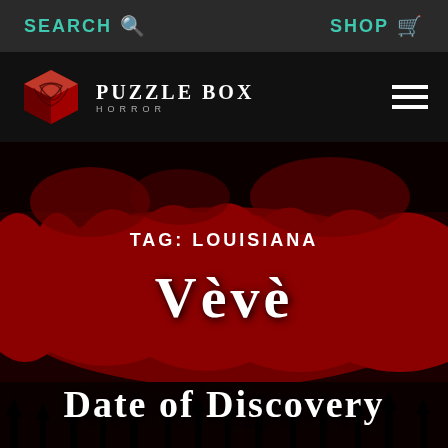SEARCH  SHOP
[Figure (logo): Puzzle Box Horror logo with red cube icon and text 'PUZZLE BOX HORROR']
TAG: LOUISIANA
VÈVÈ
Date of Discovery